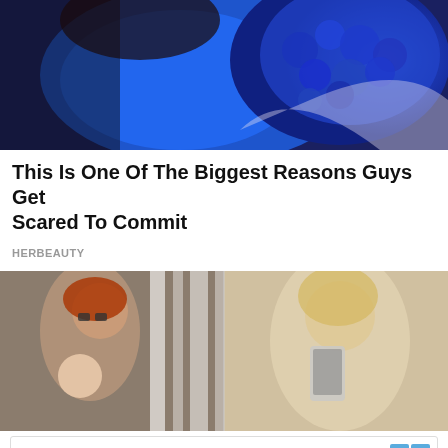[Figure (photo): Woman in blue dress holding a large bouquet of blue roses]
This Is One Of The Biggest Reasons Guys Get Scared To Commit
HERBEAUTY
[Figure (photo): Two-panel image: left shows a red-haired woman with glasses holding a baby on a zebra-print background; right shows a blonde woman taking a selfie in a mirror]
Get Your Free Copy Today
Get to Know the iUniverse Publishing Company! Sign up to Get Your Free Publishing Guide.
www.iuniverse.com
Sign Up